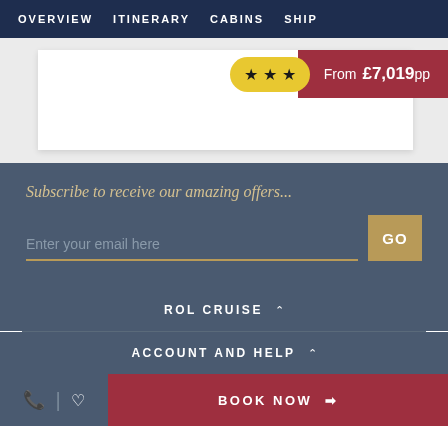OVERVIEW  ITINERARY  CABINS  SHIP
From £7,019pp
Subscribe to receive our amazing offers...
Enter your email here
GO
ROL CRUISE
ACCOUNT AND HELP
BOOK NOW →